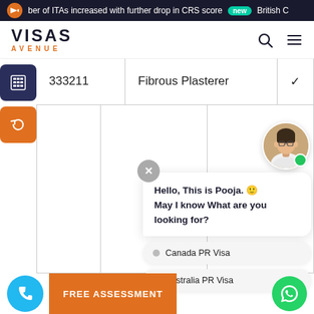ber of ITAs increased with further drop in CRS score  new  British C
[Figure (logo): Visas Avenue logo - VISAS in bold dark text, AVENUE in orange letters below]
| 333211 | Fibrous Plasterer | ✓ |
[Figure (screenshot): Chat widget showing Pooja's avatar with green online dot, chat bubble saying 'Hello, This is Pooja. May I know What are you looking for?', with options Canada PR Visa and Australia PR Visa]
FREE ASSESSMENT